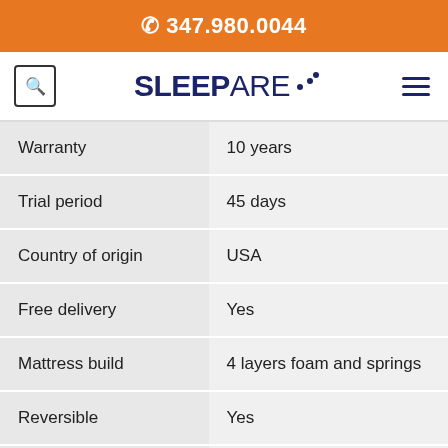☎ 347.980.0044
[Figure (logo): SLEEPARE logo with stylized dots]
| Feature | Value |
| --- | --- |
| Warranty | 10 years |
| Trial period | 45 days |
| Country of origin | USA |
| Free delivery | Yes |
| Mattress build | 4 layers foam and springs |
| Reversible | Yes |
| Fits adjustable bed | Yes |